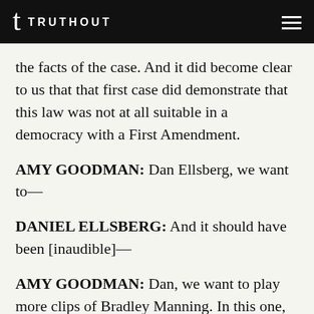TRUTHOUT
the facts of the case. And it did become clear to us that that first case did demonstrate that this law was not at all suitable in a democracy with a First Amendment.
AMY GOODMAN: Dan Ellsberg, we want to—
DANIEL ELLSBERG: And it should have been [inaudible]—
AMY GOODMAN: Dan, we want to play more clips of Bradley Manning. In this one, near the end of his remarks in the courtroom at Fort